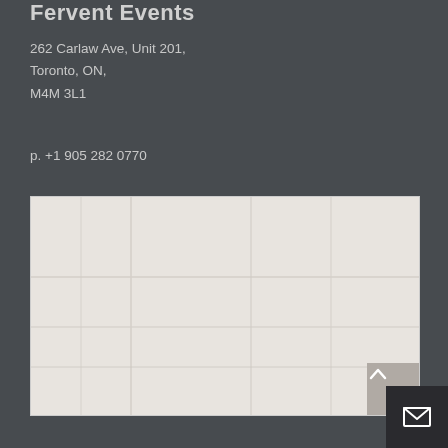Fervent Events
262 Carlaw Ave, Unit 201,
Toronto, ON,
M4M 3L1
p. +1 905 282 0770
[Figure (map): Embedded map showing location area, light beige/grey background with minimal detail visible. Contains a scroll-up button (chevron) in bottom-right corner of the map.]
[Figure (other): Dark email button with envelope icon in bottom-right corner of the page.]